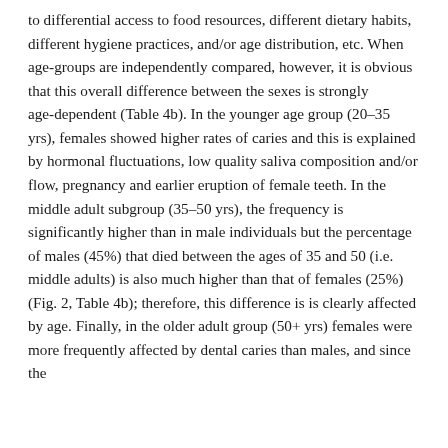to differential access to food resources, different dietary habits, different hygiene practices, and/or age distribution, etc. When age-groups are independently compared, however, it is obvious that this overall difference between the sexes is strongly age-dependent (Table 4b). In the younger age group (20–35 yrs), females showed higher rates of caries and this is explained by hormonal fluctuations, low quality saliva composition and/or flow, pregnancy and earlier eruption of female teeth. In the middle adult subgroup (35–50 yrs), the frequency is significantly higher than in male individuals but the percentage of males (45%) that died between the ages of 35 and 50 (i.e. middle adults) is also much higher than that of females (25%) (Fig. 2, Table 4b); therefore, this difference is is clearly affected by age. Finally, in the older adult group (50+ yrs) females were more frequently affected by dental caries than males, and since the